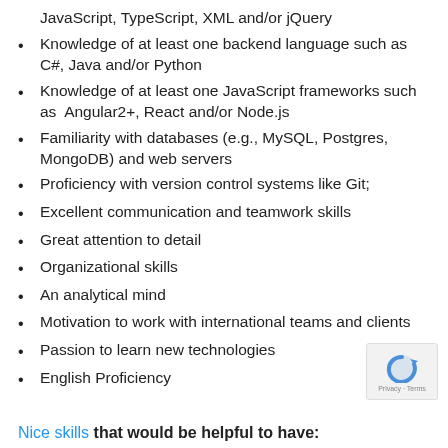JavaScript, TypeScript, XML and/or jQuery
Knowledge of at least one backend language such as C#, Java and/or Python
Knowledge of at least one JavaScript frameworks such as  Angular2+, React and/or Node.js
Familiarity with databases (e.g., MySQL, Postgres, MongoDB) and web servers
Proficiency with version control systems like Git;
Excellent communication and teamwork skills
Great attention to detail
Organizational skills
An analytical mind
Motivation to work with international teams and clients
Passion to learn new technologies
English Proficiency
Nice skills that would be helpful to have: